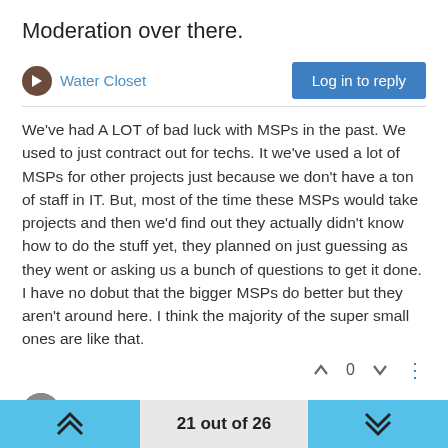Moderation over there.
Water Closet
Log in to reply
We've had A LOT of bad luck with MSPs in the past. We used to just contract out for techs. It we've used a lot of MSPs for other projects just because we don't have a ton of staff in IT. But, most of the time these MSPs would take projects and then we'd find out they actually didn't know how to do the stuff yet, they planned on just guessing as they went or asking us a bunch of questions to get it done. I have no dobut that the bigger MSPs do better but they aren't around here. I think the majority of the super small ones are like that.
0
Dashrender
Jul 24, 2014, 9:43 PM
21 out of 26